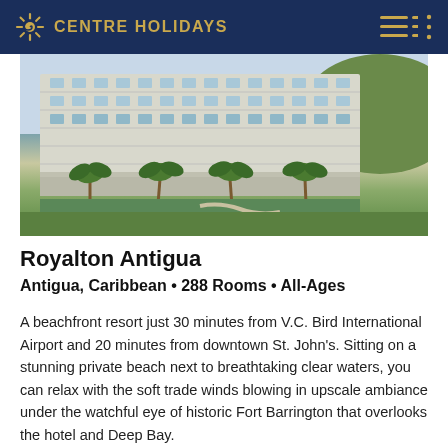CENTRE HOLIDAYS
[Figure (photo): Exterior of Royalton Antigua resort — a large multi-storey white building with balconies, palm trees in front, green landscaped grounds, and a green hillside in the background.]
Royalton Antigua
Antigua, Caribbean • 288 Rooms • All-Ages
A beachfront resort just 30 minutes from V.C. Bird International Airport and 20 minutes from downtown St. John's. Sitting on a stunning private beach next to breathtaking clear waters, you can relax with the soft trade winds blowing in upscale ambiance under the watchful eye of historic Fort Barrington that overlooks the hotel and Deep Bay.